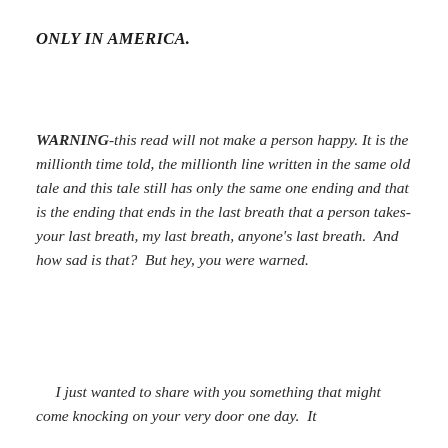ONLY IN AMERICA.
WARNING-this read will not make a person happy. It is the millionth time told, the millionth line written in the same old tale and this tale still has only the same one ending and that is the ending that ends in the last breath that a person takes-your last breath, my last breath, anyone's last breath.  And how sad is that?  But hey, you were warned.
I just wanted to share with you something that might come knocking on your very door one day.  It